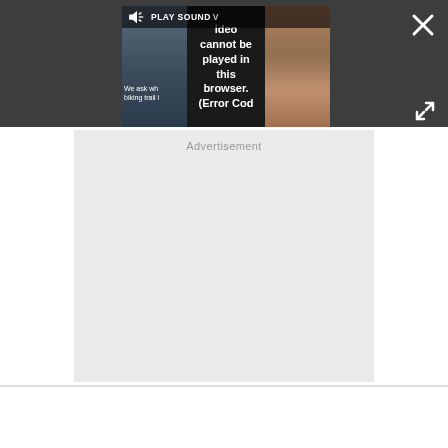[Figure (screenshot): Video player embedded in a dark overlay bar showing an error state. A semi-transparent 'PLAY SOUND' bar with speaker icon is at the top of the video. The video displays an error message: 'Video cannot be played in this browser. (Error Cod'. A close (X) button is in the top-right corner and an expand/fullscreen button is at the bottom-right of the dark bar.]
Advertisement